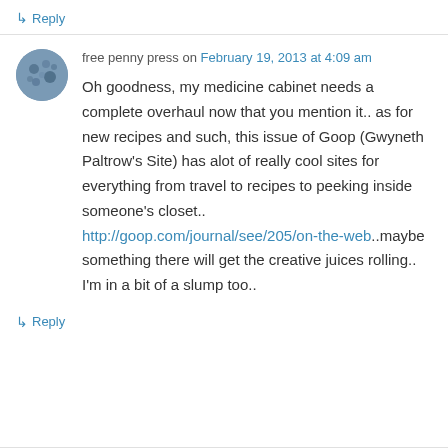↳ Reply
free penny press on February 19, 2013 at 4:09 am
Oh goodness, my medicine cabinet needs a complete overhaul now that you mention it.. as for new recipes and such, this issue of Goop (Gwyneth Paltrow's Site) has alot of really cool sites for everything from travel to recipes to peeking inside someone's closet.. http://goop.com/journal/see/205/on-the-web..maybe something there will get the creative juices rolling.. I'm in a bit of a slump too..
↳ Reply